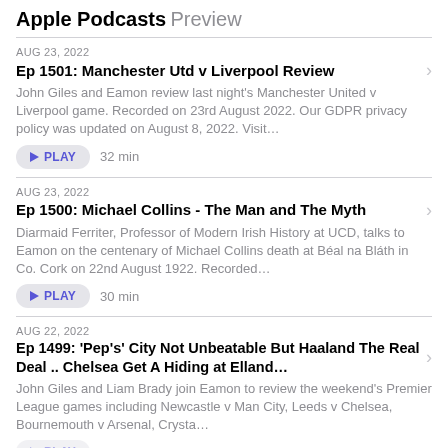Apple Podcasts Preview
AUG 23, 2022
Ep 1501: Manchester Utd v Liverpool Review
John Giles and Eamon review last night's Manchester United v Liverpool game. Recorded on 23rd August 2022. Our GDPR privacy policy was updated on August 8, 2022. Visit…
PLAY  32 min
AUG 23, 2022
Ep 1500: Michael Collins - The Man and The Myth
Diarmaid Ferriter, Professor of Modern Irish History at UCD, talks to Eamon on the centenary of Michael Collins death at Béal na Bláth in Co. Cork on 22nd August 1922. Recorded…
PLAY  30 min
AUG 22, 2022
Ep 1499: 'Pep's' City Not Unbeatable But Haaland The Real Deal .. Chelsea Get A Hiding at Elland…
John Giles and Liam Brady join Eamon to review the weekend's Premier League games including Newcastle v Man City, Leeds v Chelsea, Bournemouth v Arsenal, Crysta…
PLAY